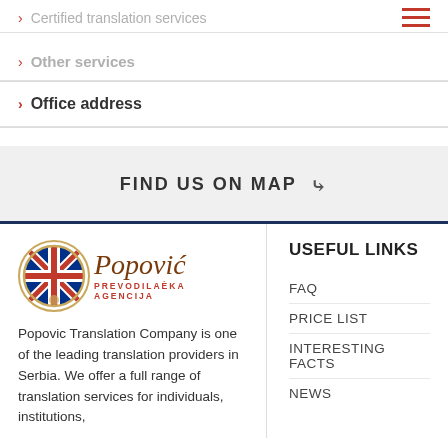> Certified translation services
> Other services
> Office address
FIND US ON MAP
[Figure (logo): Popovic Prevodilacka Agencija logo with UK flag and cursive text]
Popovic Translation Company is one of the leading translation providers in Serbia. We offer a full range of translation services for individuals, institutions,
USEFUL LINKS
FAQ
PRICE LIST
INTERESTING FACTS
NEWS